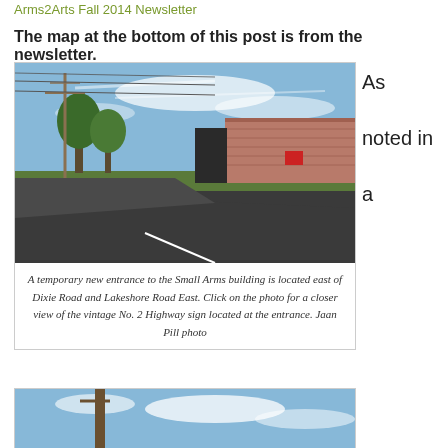Arms2Arts Fall 2014 Newsletter
The map at the bottom of this post is from the newsletter.
[Figure (photo): Street-level photo showing a road intersection with power lines, trees, and a large brick building (Small Arms building) in the background under a blue sky with wispy clouds.]
A temporary new entrance to the Small Arms building is located east of Dixie Road and Lakeshore Road East. Click on the photo for a closer view of the vintage No. 2 Highway sign located at the entrance. Jaan Pill photo
As noted in a
[Figure (photo): Photo showing a utility pole against a blue sky with clouds.]